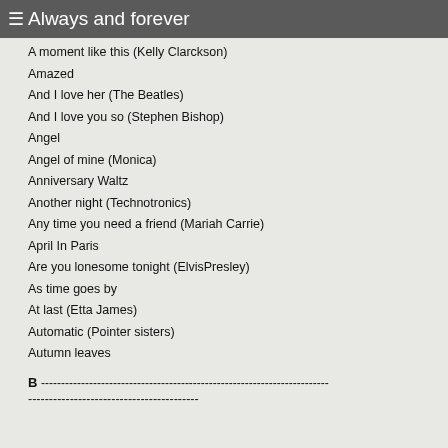Always and forever
A moment like this (Kelly Clarckson)
Amazed
And I love her (The Beatles)
And I love you so (Stephen Bishop)
Angel
Angel of mine (Monica)
Anniversary Waltz
Another night (Technotronics)
Any time you need a friend (Mariah Carrie)
April In Paris
Are you lonesome tonight (ElvisPresley)
As time goes by
At last (Etta James)
Automatic (Pointer sisters)
Autumn leaves
B ------------------------------------------------------------------------
-----------------------------------------